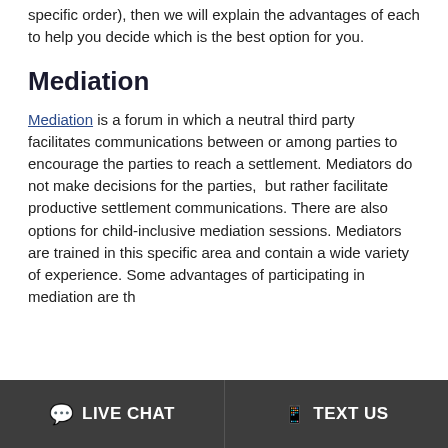specific order), then we will explain the advantages of each to help you decide which is the best option for you.
Mediation
Mediation is a forum in which a neutral third party facilitates communications between or among parties to encourage the parties to reach a settlement. Mediators do not make decisions for the parties,  but rather facilitate productive settlement communications. There are also options for child-inclusive mediation sessions. Mediators are trained in this specific area and contain a wide variety of experience. Some advantages of participating in mediation are th
LIVE CHAT   TEXT US